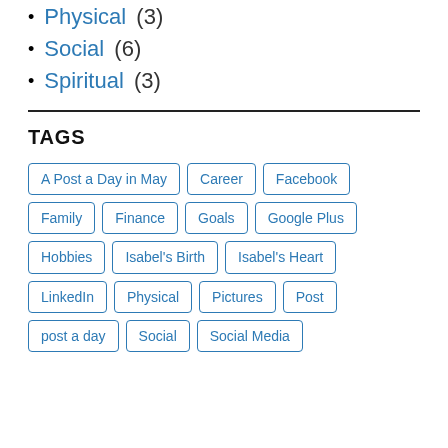Physical (3)
Social (6)
Spiritual (3)
TAGS
A Post a Day in May, Career, Facebook, Family, Finance, Goals, Google Plus, Hobbies, Isabel's Birth, Isabel's Heart, LinkedIn, Physical, Pictures, Post, post a day, Social, Social Media